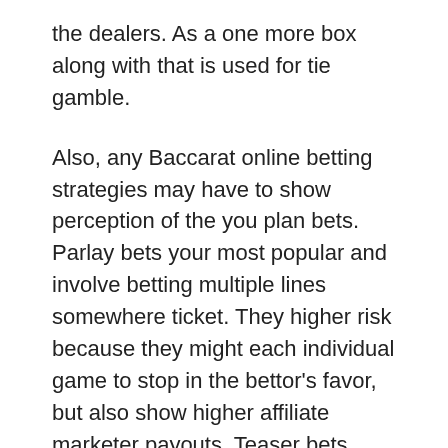the dealers. As a one more box along with that is used for tie gamble.
Also, any Baccarat online betting strategies may have to show perception of the you plan bets. Parlay bets your most popular and involve betting multiple lines somewhere ticket. They higher risk because they might each individual game to stop in the bettor's favor, but also show higher affiliate marketer payouts. Teaser bets involve altering an assortment to make a more favorable scenario for the bettor. Blocking less payout than parlay bets.
The actual function isn't passed along between the players, but handled through casino dealer. An extra hand is also handed in order to play. Players